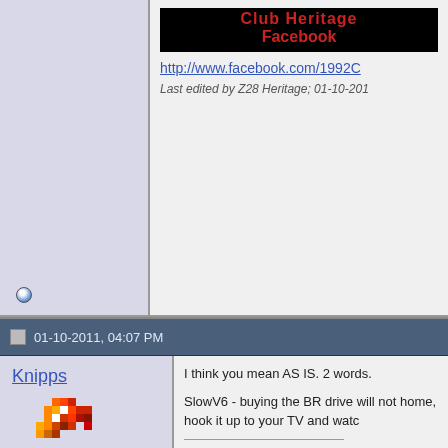[Figure (screenshot): Top partial forum post showing club heritage Facebook banner and link, with last edited note by Z28 Heritage]
Club Heritage Facebook
http://www.facebook.com/1992C
Last edited by Z28 Heritage; 01-10-201
01-10-2011, 04:07 PM
Knipps
[Figure (illustration): Pixel art avatar of a fire-type Pokemon (Charmander/Charizard style) with a red Pokemon ball]
Join Date: Dec 2005
Location: Boston/North
Posts: 9,214
View My FQuick Garage
iTrader: (8)
I think you mean AS IS. 2 words.
SlowV6 - buying the BR drive will not home, hook it up to your TV and watc
[Figure (illustration): LOL meme image with a cup icon and large black LOL. text]
Quote:
Originally Posted by BonzoHans dumbass.
Last edited by Knipps; 01-10-2011 at 04:07 P